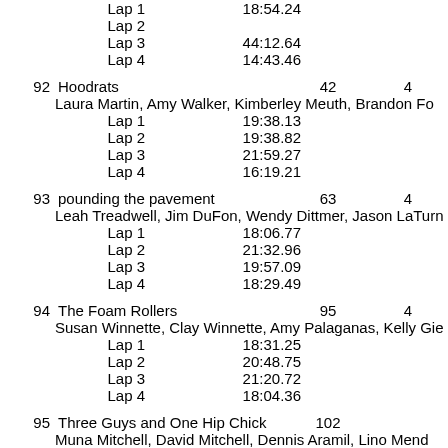Lap 2
Lap 3   44:12.64
Lap 4   14:43.46
92   Hoodrats   42   4
Laura Martin, Amy Walker, Kimberley Meuth, Brandon Fo
Lap 1  19:38.13
Lap 2  19:38.82
Lap 3  21:59.27
Lap 4  16:19.21
93   pounding the pavement   63   4
Leah Treadwell, Jim DuFon, Wendy Dittmer, Jason LaTurn
Lap 1  18:06.77
Lap 2  21:32.96
Lap 3  19:57.09
Lap 4  18:29.49
94   The Foam Rollers   95   4
Susan Winnette, Clay Winnette, Amy Palaganas, Kelly Gie
Lap 1  18:31.25
Lap 2  20:48.75
Lap 3  21:20.72
Lap 4  18:04.36
95   Three Guys and One Hip Chick   102
Muna Mitchell, David Mitchell, Dennis Aramil, Lino Mend
Lap 1  19:08.84